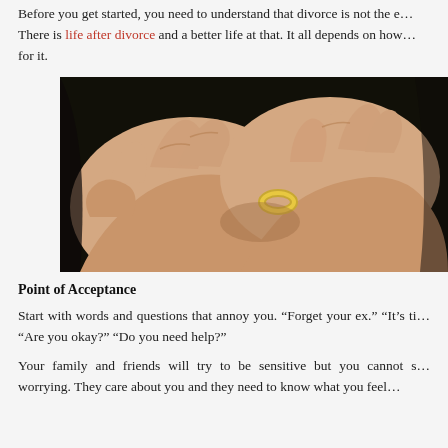Before you get started, you need to understand that divorce is not the end. There is life after divorce and a better life at that. It all depends on how you prepare for it.
[Figure (photo): Close-up photo of hands removing a wedding ring, one hand pulling a gold ring off the finger of the other hand, dark background.]
Point of Acceptance
Start with words and questions that annoy you. “Forget your ex.” “It’s ti… “Are you okay?” “Do you need help?”
Your family and friends will try to be sensitive but you cannot s… worrying. They care about you and they need to know what you feel…